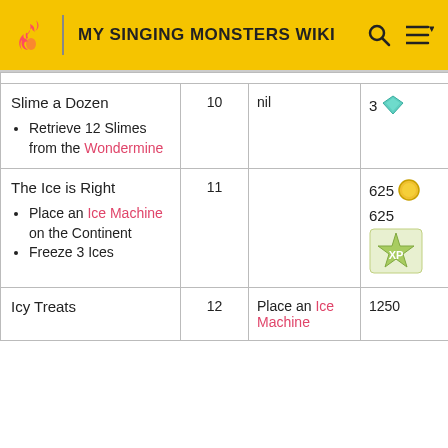MY SINGING MONSTERS WIKI
| Quest | Level | Requirements | Rewards |
| --- | --- | --- | --- |
| Slime a Dozen
• Retrieve 12 Slimes from the Wondermine | 10 | nil | 3 💎 |
| The Ice is Right
• Place an Ice Machine on the Continent
• Freeze 3 Ices | 11 |  | 625 🟡
625 XP |
| Icy Treats | 12 | Place an Ice Machine | 1250 |